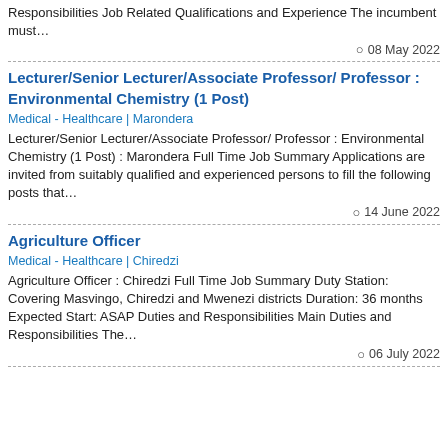Responsibilities Job Related Qualifications and Experience The incumbent must…
08 May 2022
Lecturer/Senior Lecturer/Associate Professor/ Professor : Environmental Chemistry (1 Post)
Medical - Healthcare | Marondera
Lecturer/Senior Lecturer/Associate Professor/ Professor : Environmental Chemistry (1 Post) : Marondera Full Time Job Summary Applications are invited from suitably qualified and experienced persons to fill the following posts that…
14 June 2022
Agriculture Officer
Medical - Healthcare | Chiredzi
Agriculture Officer : Chiredzi Full Time Job Summary Duty Station: Covering Masvingo, Chiredzi and Mwenezi districts Duration: 36 months Expected Start: ASAP Duties and Responsibilities Main Duties and Responsibilities The…
06 July 2022